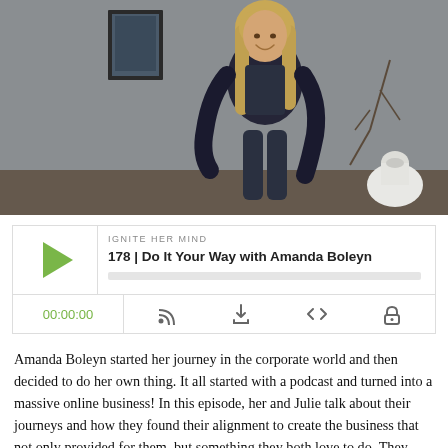[Figure (photo): A smiling woman with long blonde hair wearing a black top and dark overalls, posing in a room with a grey wall, framed artwork, and a white round vase. She has one hand on her hip.]
[Figure (screenshot): Podcast player widget showing 'IGNITE HER MIND' podcast, episode '178 | Do It Your Way with Amanda Boleyn', with a green play button, progress bar, time display '00:00:00', and control icons for subscribe, download, embed, and tip.]
Amanda Boleyn started her journey in the corporate world and then decided to do her own thing. It all started with a podcast and turned into a massive online business! In this episode, her and Julie talk about their journeys and how they found their alignment to create the business that not only provided for them, but something they both love to do. They both became successful and did it the